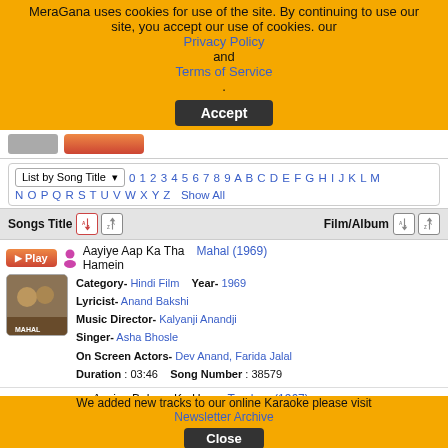MeraGana uses cookies for use of the site. By continuing to use our site, you accept our use of cookies. our Privacy Policy and Terms of Service.
Accept
List by Song Title  0 1 2 3 4 5 6 7 8 9 A B C D E F G H I J K L M N O P Q R S T U V W X Y Z  Show All
| Songs Title | Film/Album |
| --- | --- |
| Aayiye Aap Ka Tha Hamein | Mahal (1969) |
| Aayiye Bahaar Ko Hum Baant Lein | Taqdeer (1967) |
Category- Hindi Film   Year- 1969
Lyricist- Anand Bakshi
Music Director- Kalyanji Anandji
Singer- Asha Bhosle
On Screen Actors- Dev Anand, Farida Jalal
Duration : 03:46   Song Number : 38579
We added new tracks to our online Karaoke please visit Newsletter Archive
Close